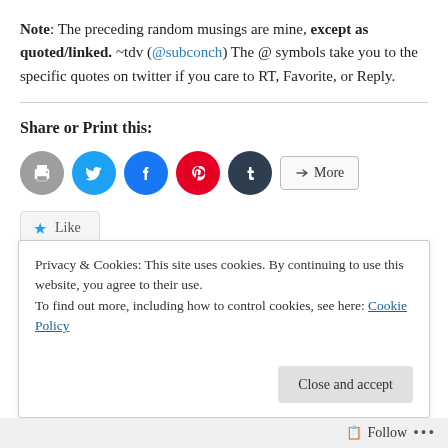Note: The preceding random musings are mine, except as quoted/linked. ~tdv (@subconch) The @ symbols take you to the specific quotes on twitter if you care to RT, Favorite, or Reply.
Share or Print this:
[Figure (other): Social share buttons: print (grey circle), Twitter (blue circle), Facebook (blue circle), Pinterest (red circle), Tumblr (dark circle), and a More button]
Like
Privacy & Cookies: This site uses cookies. By continuing to use this website, you agree to their use.
To find out more, including how to control cookies, see here: Cookie Policy
Close and accept
Follow